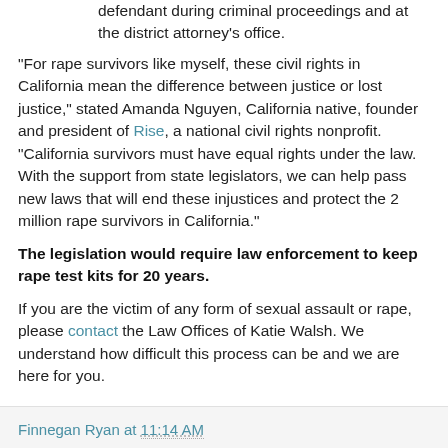defendant during criminal proceedings and at the district attorney's office.
“For rape survivors like myself, these civil rights in California mean the difference between justice or lost justice,” stated Amanda Nguyen, California native, founder and president of Rise, a national civil rights nonprofit. “California survivors must have equal rights under the law. With the support from state legislators, we can help pass new laws that will end these injustices and protect the 2 million rape survivors in California.”
The legislation would require law enforcement to keep rape test kits for 20 years.
If you are the victim of any form of sexual assault or rape, please contact the Law Offices of Katie Walsh. We understand how difficult this process can be and we are here for you.
Finnegan Ryan at 11:14 AM